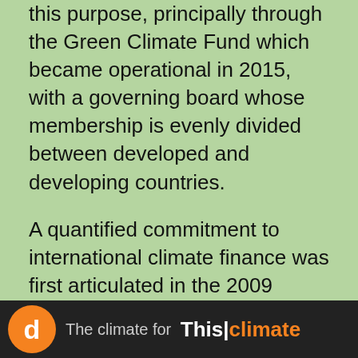this purpose, principally through the Green Climate Fund which became operational in 2015, with a governing board whose membership is evenly divided between developed and developing countries.
A quantified commitment to international climate finance was first articulated in the 2009 Copenhagen Accord. Richer countries agreed to “a goal of mobilizing jointly USD 100 billion dollars a year by 2020 to address the needs of developing countries.” The Paris Climate Agreement extended this commitment to 2025, although the text wording is flimsy and concerns climate justice campaigners.
[Figure (screenshot): Bottom strip showing a media thumbnail: orange circle with letter 'd', partial image of a person, and text 'The climate for This|climate' in white and orange on dark background]